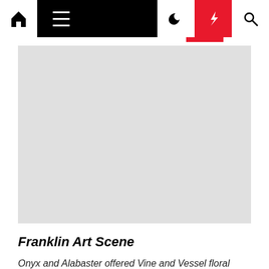Navigation bar with home, menu, moon, bolt, and search icons
[Figure (photo): Large light gray image placeholder area]
Franklin Art Scene
Onyx and Alabaster offered Vine and Vessel floral